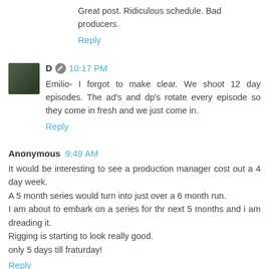Great post. Ridiculous schedule. Bad producers.
Reply
D  10:17 PM
Emilio- I forgot to make clear. We shoot 12 day episodes. The ad's and dp's rotate every episode so they come in fresh and we just come in.
Reply
Anonymous  9:49 AM
It would be interesting to see a production manager cost out a 4 day week.
A 5 month series would turn into just over a 6 month run.
I am about to embark on a series for thr next 5 months and i am dreading it.
Rigging is starting to look really good.
only 5 days till fraturday!
Reply